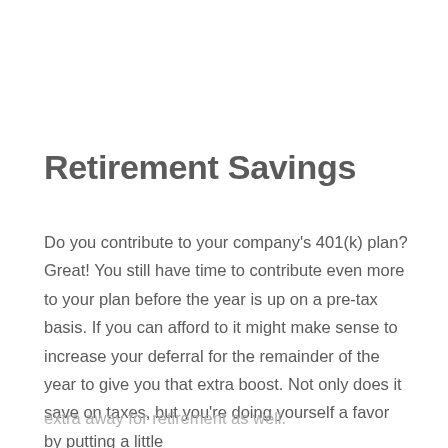Retirement Savings
Do you contribute to your company's 401(k) plan? Great! You still have time to contribute even more to your plan before the year is up on a pre-tax basis. If you can afford to it might make sense to increase your deferral for the remainder of the year to give you that extra boost. Not only does it save on taxes, but you're doing yourself a favor by putting a little
extra away for retirement as well.